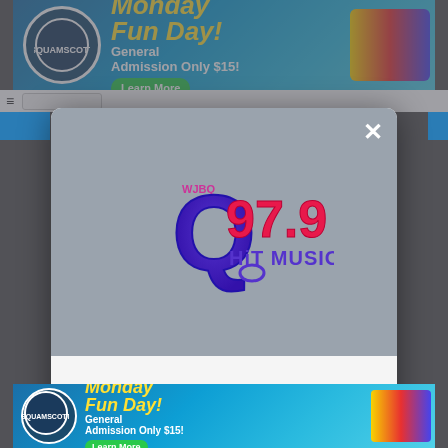[Figure (screenshot): Top advertisement banner for an amusement park: Monday Fun Day! General Admission Only $15! Learn More]
[Figure (logo): Q97.9 WJBQ Hit Music! radio station logo — large Q in purple/blue with pink 97.9 lettering and Hit Music! tagline]
DOWNLOAD THE Q97.9 MOBILE APP
GET OUR FREE MOBILE APP
Also listen on:  amazon alexa
[Figure (screenshot): Bottom advertisement banner for amusement park: Monday Fun Day! General Admission Only $15! Learn More]